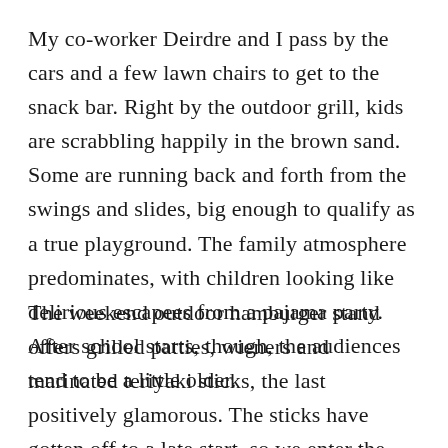My co-worker Deirdre and I pass by the cars and a few lawn chairs to get to the snack bar. Right by the outdoor grill, kids are scrabbling happily in the brown sand. Some are running back and forth from the swings and slides, big enough to qualify as a true playground. The family atmosphere predominates, with children looking like delirious escapees from a pajama party. After school starts, though, the audiences tend to be a little older.
The weekend outdoor hamburger stand offers grilled patties, wieners and marinated teriyaki sticks, the last positively glamorous. The sticks have gotten off to a late start, so we enter the